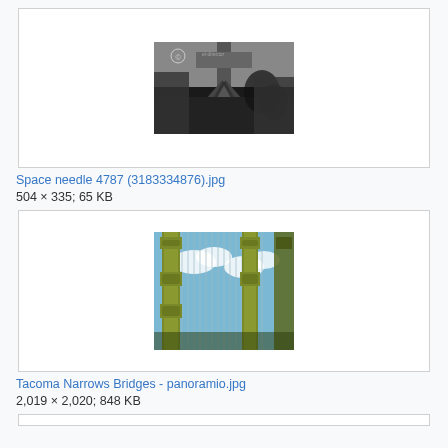[Figure (photo): Black and white upward-angled photograph of the Space Needle tower structure against the sky]
Space needle 4787 (3183334876).jpg
504 × 335; 65 KB
[Figure (photo): Color photograph of Tacoma Narrows Bridge towers with cable stays, blue sky with clouds visible through the structure]
Tacoma Narrows Bridges - panoramio.jpg
2,019 × 2,020; 848 KB